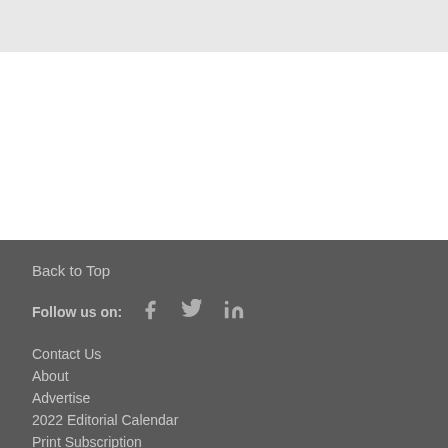Back to Top
Follow us on:
Contact Us
About
Advertise
2022 Editorial Calendar
Print Subscription
Privacy and Cookie Policy